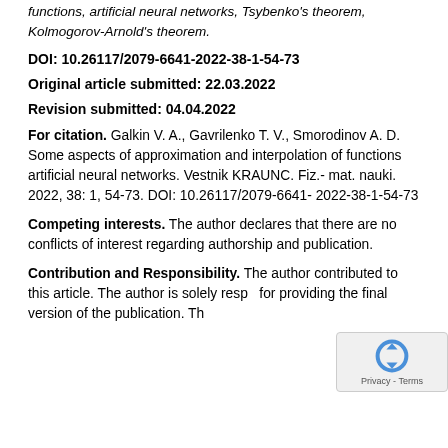functions, artificial neural networks, Tsybenko's theorem, Kolmogorov-Arnold's theorem.
DOI: 10.26117/2079-6641-2022-38-1-54-73
Original article submitted: 22.03.2022
Revision submitted: 04.04.2022
For citation. Galkin V. A., Gavrilenko T. V., Smorodinov A. D. Some aspects of approximation and interpolation of functions artificial neural networks. Vestnik KRAUNC. Fiz.-mat. nauki. 2022, 38: 1, 54-73. DOI: 10.26117/2079-6641-2022-38-1-54-73
Competing interests. The author declares that there are no conflicts of interest regarding authorship and publication.
Contribution and Responsibility. The author contributed to this article. The author is solely responsible for providing the final version of the publication. The